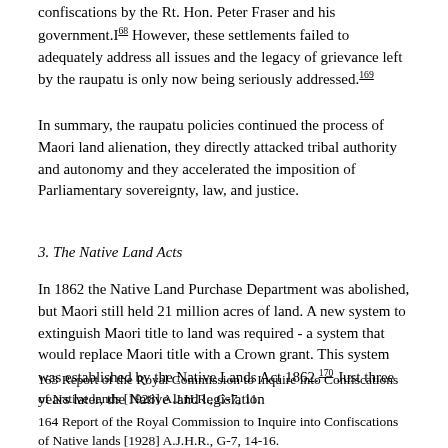confiscations by the Rt. Hon. Peter Fraser and his government.I⁨ However, these settlements failed to adequately address all issues and the legacy of grievance left by the raupatu is only now being seriously addressed.169
In summary, the raupatu policies continued the process of Maori land alienation, they directly attacked tribal authority and autonomy and they accelerated the imposition of Parliamentary sovereignty, law, and justice.
3. The Native Land Acts
In 1862 the Native Land Purchase Department was abolished, but Maori still held 21 million acres of land. A new system to extinguish Maori title to land was required - a system that would replace Maori title with a Crown grant. This system was established by the Native Lands Act 1862.170 Just three years later, the Native land legislation
163 Report of the Royal Commission to Inquire into Confiscations of Native lands [1928] A.J.H.R., G-7, 11.
164 Report of the Royal Commission to Inquire into Confiscations of Native lands [1928] A.J.H.R., G-7, 14-16.